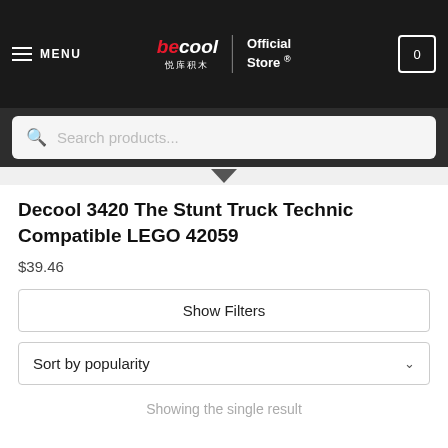MENU | Becool Official Store | 0
Search products...
Decool 3420 The Stunt Truck Technic Compatible LEGO 42059
$39.46
Show Filters
Sort by popularity
Showing the single result